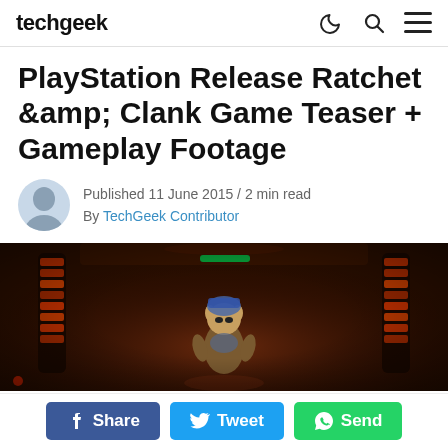techgeek
PlayStation Release Ratchet &amp; Clank Game Teaser + Gameplay Footage
Published 11 June 2015 / 2 min read
By TechGeek Contributor
[Figure (screenshot): Screenshot from Ratchet & Clank game showing a character in a dark sci-fi environment with glowing orange and red lights]
Share  Tweet  Send